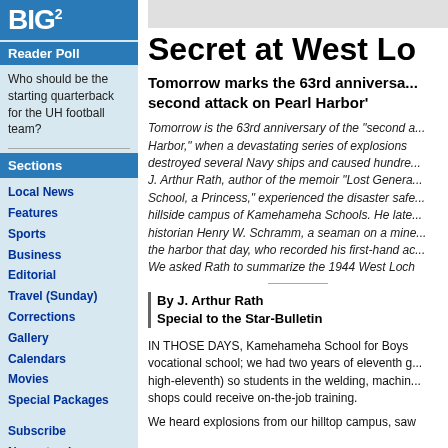BIG2 Reader Poll
Who should be the starting quarterback for the UH football team?
Sections
Local News
Features
Sports
Business
Editorial
Travel (Sunday)
Corrections
Gallery
Calendars
Movies
Special Packages
Subscribe
Newsstands
Directory
Freelancers
E-Mail Headlines
RSS/XML
Secret at West Lo
Tomorrow marks the 63rd anniversary of the 'second attack on Pearl Harbor'
Tomorrow is the 63rd anniversary of the "second attack on Pearl Harbor," when a devastating series of explosions destroyed several Navy ships and caused hundreds of casualties. J. Arthur Rath, author of the memoir "Lost Generation: a School, a Princess," experienced the disaster safely from the hillside campus of Kamehameha Schools. He later met naval historian Henry W. Schramm, a seaman on a minesweeper in the harbor that day, who recorded his first-hand account. We asked Rath to summarize the 1944 West Loch
By J. Arthur Rath
Special to the Star-Bulletin
IN THOSE DAYS, Kamehameha School for Boys was a vocational school; we had two years of eleventh grade (called high-eleventh) so students in the welding, machine, and other shops could receive on-the-job training.
We heard explosions from our hilltop campus, saw